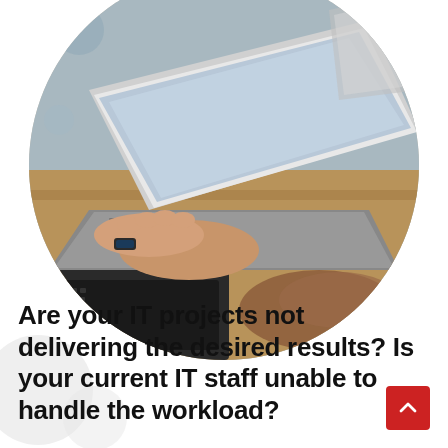[Figure (photo): Circular cropped photo of hands typing on a laptop keyboard at a desk, with another laptop visible in the background. Office/workspace setting with shallow depth of field.]
Are your IT projects not delivering the desired results? Is your current IT staff unable to handle the workload?